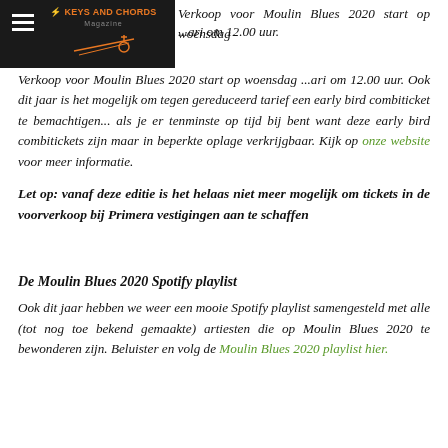Keys and Chords Magazine logo and hamburger menu
Verkoop voor Moulin Blues 2020 start op woensdag ...ari om 12.00 uur. Ook dit jaar is het mogelijk om tegen gereduceerd tarief een early bird combiticket te bemachtigen... als je er tenminste op tijd bij bent want deze early bird combitickets zijn maar in beperkte oplage verkrijgbaar. Kijk op onze website voor meer informatie.
Let op: vanaf deze editie is het helaas niet meer mogelijk om tickets in de voorverkoop bij Primera vestigingen aan te schaffen
De Moulin Blues 2020 Spotify playlist
Ook dit jaar hebben we weer een mooie Spotify playlist samengesteld met alle (tot nog toe bekend gemaakte) artiesten die op Moulin Blues 2020 te bewonderen zijn. Beluister en volg de Moulin Blues 2020 playlist hier.